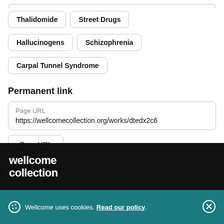Thalidomide
Street Drugs
Hallucinogens
Schizophrenia
Carpal Tunnel Syndrome
Permanent link
Page URL
https://wellcomecollection.org/works/dtedx2c6
Copy URL
[Figure (logo): Wellcome Collection logo in white text on black background]
Wellcome uses cookies. Read our policy.